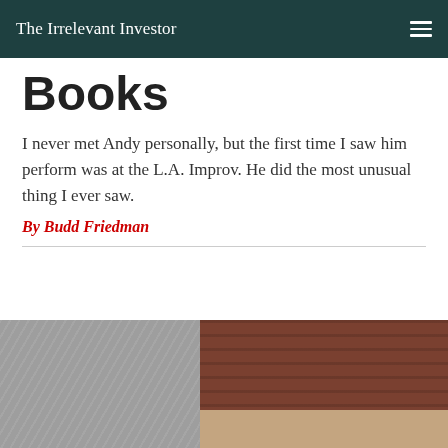The Irrelevant Investor
Books
I never met Andy personally, but the first time I saw him perform was at the L.A. Improv. He did the most unusual thing I ever saw.
By Budd Friedman
[Figure (photo): Photograph showing a fuzzy gray textile on the left and a brown cushioned surface on the right with a lighter beige area below, partially cut off at bottom of page. An advertisement bar overlays the bottom portion.]